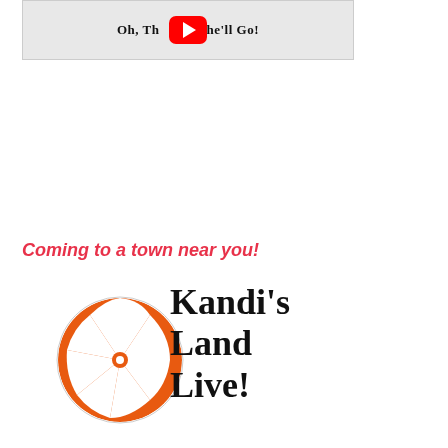[Figure (screenshot): YouTube video thumbnail showing title text 'Oh, The Places She'll Go!' with a red YouTube play button overlaid in the center]
Coming to a town near you!
[Figure (logo): Kandi's Land Live! logo featuring an orange and white swirled peppermint candy circle on the left with bold black text reading 'Kandi's Land Live!' on the right]